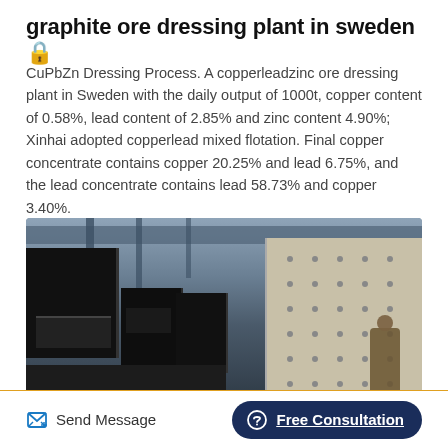graphite ore dressing plant in sweden 🔒
CuPbZn Dressing Process. A copperleadzinc ore dressing plant in Sweden with the daily output of 1000t, copper content of 0.58%, lead content of 2.85% and zinc content 4.90%; Xinhai adopted copperlead mixed flotation. Final copper concentrate contains copper 20.25% and lead 6.75%, and the lead concentrate contains lead 58.73% and copper 3.40%.
[Figure (photo): Industrial flotation machine equipment inside a ore dressing plant facility, showing black segmented floatation cells and white panel structures. A worker is visible on the right side. A dark navy back-to-top button with upward chevron arrow overlay in top-right corner.]
Send Message | Free Consultation